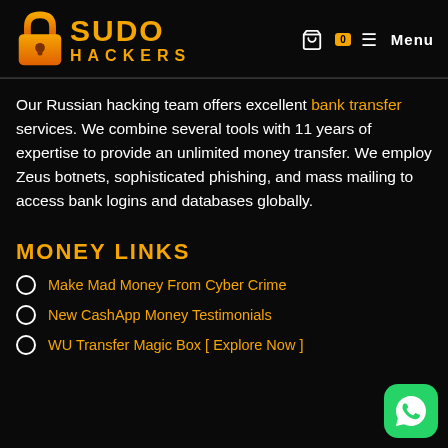[Figure (logo): Sudo Hackers logo with orange padlock icon and orange text reading SUDO HACKERS]
Our Russian hacking team offers excellent bank transfer services. We combine several tools with 11 years of expertise to provide an unlimited money transfer. We employ Zeus botnets, sophisticated phishing, and mass mailing to access bank logins and databases globally.
MONEY LINKS
Make Mad Money From Cyber Crime
New CashApp Money Testimonials
WU Transfer Magic Box [ Explore Now ]